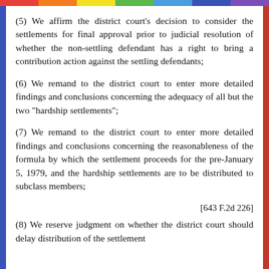(5) We affirm the district court's decision to consider the settlements for final approval prior to judicial resolution of whether the non-settling defendant has a right to bring a contribution action against the settling defendants;
(6) We remand to the district court to enter more detailed findings and conclusions concerning the adequacy of all but the two "hardship settlements";
(7) We remand to the district court to enter more detailed findings and conclusions concerning the reasonableness of the formula by which the settlement proceeds for the pre-January 5, 1979, and the hardship settlements are to be distributed to subclass members;
[643 F.2d 226]
(8) We reserve judgment on whether the district court should delay distribution of the settlement